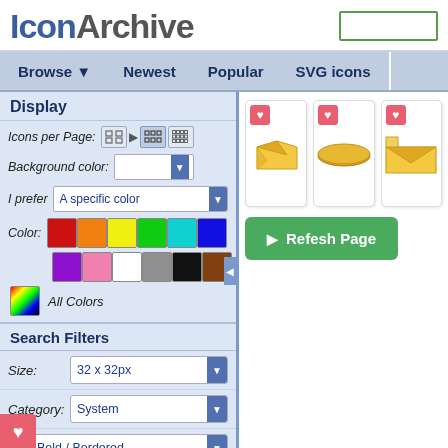IconArchive
Browse ▼  Newest  Popular  SVG icons
Display
Icons per Page:
Background color:
I prefer  A specific color
Color:
All Colors
Search Filters
Size:  32 x 32px
Category:  System
e:  Bold / Bordered
[Figure (screenshot): Three icon cards showing gold/yellow envelope/paper icons, each with a pink heart favorite button in top-left corner]
[Figure (other): Green Refresh Page button with play arrow icon]